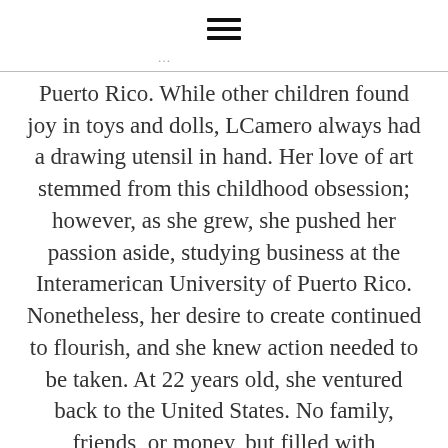≡
… was born in Puerto Rico. While other children found joy in toys and dolls, LCamero always had a drawing utensil in hand. Her love of art stemmed from this childhood obsession; however, as she grew, she pushed her passion aside, studying business at the Interamerican University of Puerto Rico. Nonetheless, her desire to create continued to flourish, and she knew action needed to be taken. At 22 years old, she ventured back to the United States. No family, friends, or money, but filled with determination. In 2012 she graduated from the